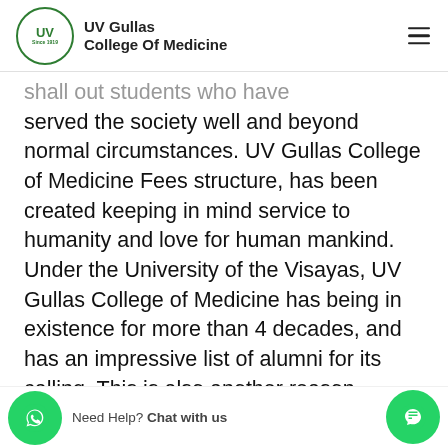UV Gullas College Of Medicine
shall out students who have served the society well and beyond normal circumstances. UV Gullas College of Medicine Fees structure, has been created keeping in mind service to humanity and love for human mankind. Under the University of the Visayas, UV Gullas College of Medicine has being in existence for more than 4 decades, and has an impressive list of alumni for its calling. This is also another reason, es through the top 10 medical colleges in Philippines to do MBBS in
Need Help? Chat with us